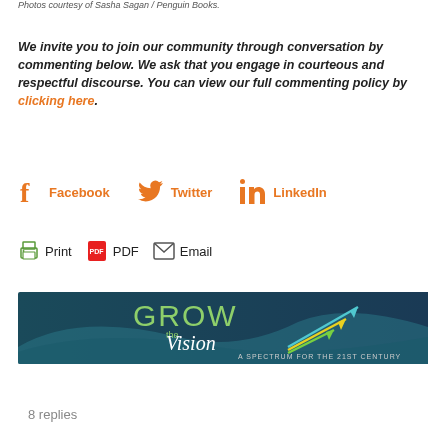Photos courtesy of Sasha Sagan / Penguin Books.
We invite you to join our community through conversation by commenting below. We ask that you engage in courteous and respectful discourse. You can view our full commenting policy by clicking here.
[Figure (infographic): Social media sharing icons: Facebook, Twitter, LinkedIn]
[Figure (infographic): Print, PDF, and Email action icons]
[Figure (infographic): Banner advertisement: GROW the Vision - A Spectrum for the 21st Century, dark teal background with arrows graphic]
8 replies